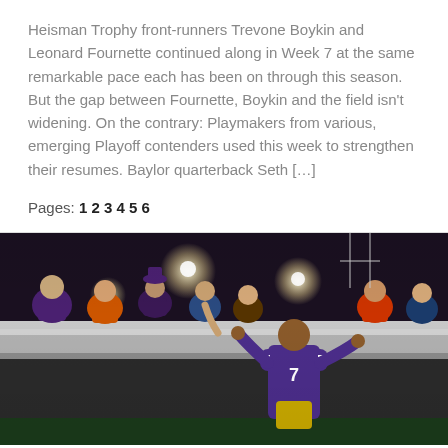Heisman Trophy front-runners Trevone Boykin and Leonard Fournette continued along in Week 7 at the same remarkable pace each has been on through this season. But the gap between Fournette, Boykin and the field isn't widening. On the contrary: Playmakers from various, emerging Playoff contenders used this week to strengthen their resumes. Baylor quarterback Seth […]
Pages: 1 2 3 4 5 6
[Figure (photo): Night football game photo showing LSU player #7 in purple and gold uniform interacting with fans leaning over a concrete wall barrier. Stadium lights visible in background. Multiple fans in purple/orange attire.]